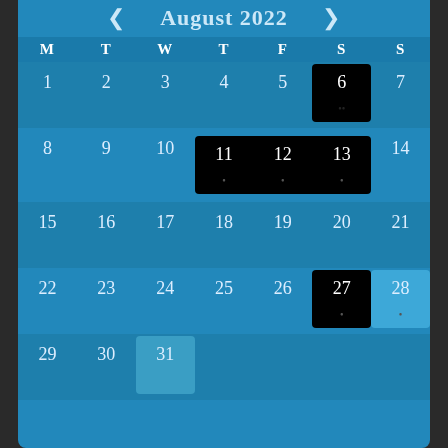August 2022
| M | T | W | T | F | S | S |
| --- | --- | --- | --- | --- | --- | --- |
| 1 | 2 | 3 | 4 | 5 | 6 | 7 |
| 8 | 9 | 10 | 11 | 12 | 13 | 14 |
| 15 | 16 | 17 | 18 | 19 | 20 | 21 |
| 22 | 23 | 24 | 25 | 26 | 27 | 28 |
| 29 | 30 | 31 |  |  |  |  |